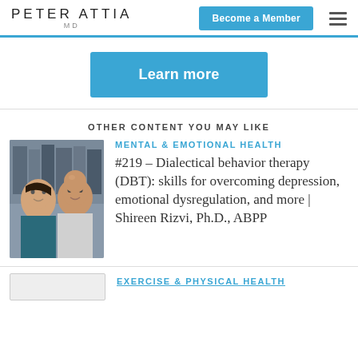PETER ATTIA MD
Learn more
OTHER CONTENT YOU MAY LIKE
[Figure (photo): Two people posing together, a woman with dark hair and a bald man]
MENTAL & EMOTIONAL HEALTH
#219 – Dialectical behavior therapy (DBT): skills for overcoming depression, emotional dysregulation, and more | Shireen Rizvi, Ph.D., ABPP
EXERCISE & PHYSICAL HEALTH